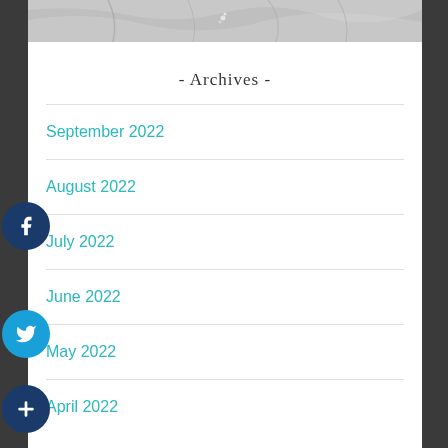[Figure (photo): Black and white photo strip showing fabric or clothing detail at the top of the page]
- Archives -
September 2022
August 2022
July 2022
June 2022
May 2022
April 2022